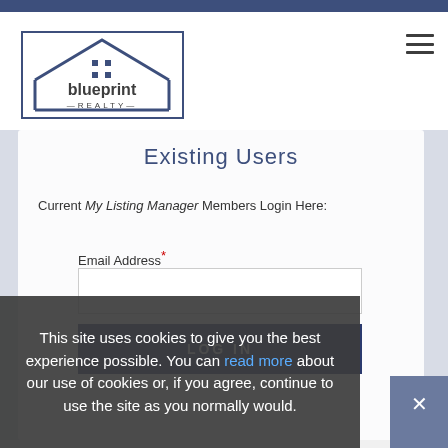[Figure (logo): Blueprint Realty logo with house/roof outline and text 'blueprint REALTY']
Existing Users
Current My Listing Manager Members Login Here:
Email Address *
LOG IN
This site uses cookies to give you the best experience possible. You can read more about our use of cookies or, if you agree, continue to use the site as you normally would.